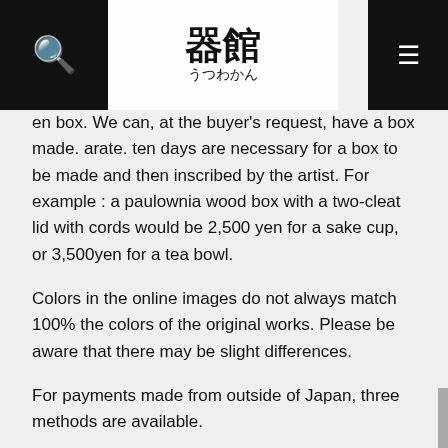器館 うつわかん
en box. We can, at the buyer's request, have a box made. arate. ten days are necessary for a box to be made and then inscribed by the artist. For example : a paulownia wood box with a two-cleat lid with cords would be 2,500 yen for a sake cup, or 3,500yen for a tea bowl.
Colors in the online images do not always match 100% the colors of the original works. Please be aware that there may be slight differences.
For payments made from outside of Japan, three methods are available.
*Bank transfer, *IPMO(International Postal Money Order) and *PayPal.
If you have a PayPal account, we can send an invoice via email and you then can pay through your PayPal account.
For more information, please use the “contact” link above. Thank you.